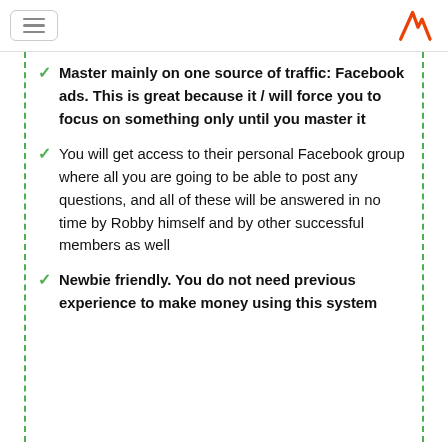Navigation menu and logo
Master mainly on one source of traffic: Facebook ads. This is great because it / will force you to focus on something only until you master it
You will get access to their personal Facebook group where all you are going to be able to post any questions, and all of these will be answered in no time by Robby himself and by other successful members as well
Newbie friendly. You do not need previous experience to make money using this system